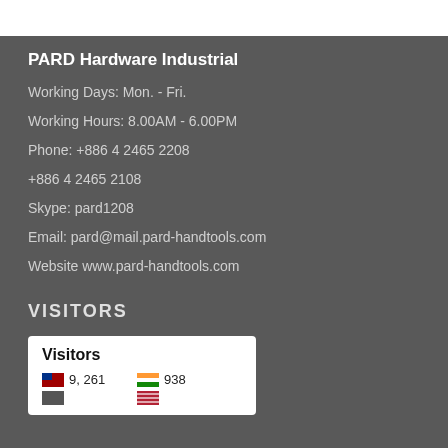PARD Hardware Industrial
Working Days: Mon. - Fri.
Working Hours: 8.00AM - 6.00PM
Phone: +886 4 2465 2208
+886 4 2465 2108
Skype: pard1208
Email: pard@mail.pard-handtools.com
Website www.pard-handtools.com
VISITORS
[Figure (infographic): Visitors widget showing country flags and visitor counts: Taiwan 9,261 and India 938, with a partial row below.]